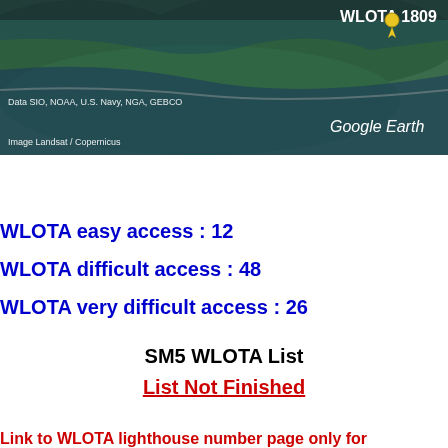[Figure (screenshot): Google Earth satellite map image showing a coastal/island area with a yellow location pin labeled 'WLOTA 1809'. Text overlays show 'Data SIO, NOAA, U.S. Navy, NGA, GEBCO' and 'Image Landsat / Copernicus' and 'Google Earth' branding.]
WLOTA easy access : 12
WLOTA difficult access : 48
WLOTA very difficult access : 26
SM5 WLOTA List
List Not Finished
Link to WLOTA lighthouse number page only for registered membe...